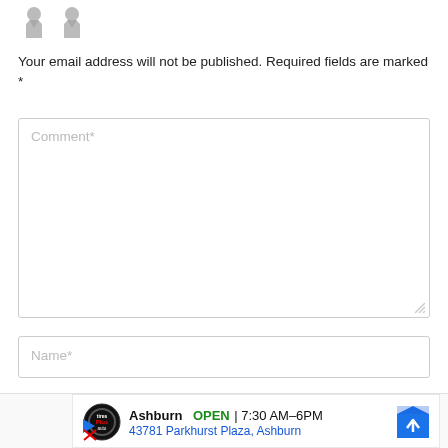[Figure (illustration): Two gray avatar/user icons side by side]
Your email address will not be published. Required fields are marked *
[Figure (screenshot): Comment text area input field with placeholder text 'Comment*']
[Figure (screenshot): Name text input field with placeholder text 'Name*']
[Figure (screenshot): Advertisement for Tires Plus Auto - Ashburn location, OPEN 7:30 AM-6PM, 43781 Parkhurst Plaza, Ashburn]